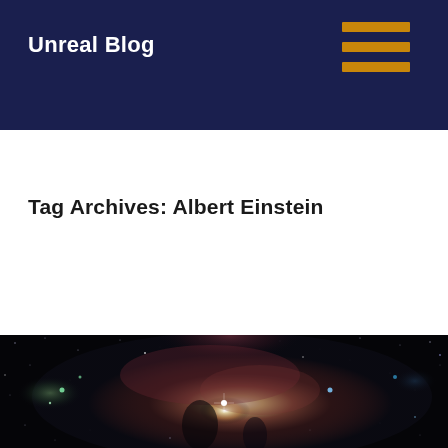Unreal Blog
Tag Archives: Albert Einstein
[Figure (photo): Astrophotography image of the Orion Nebula against a dark starfield, showing glowing red and pink nebulosity with bright stars and dark dust lanes.]